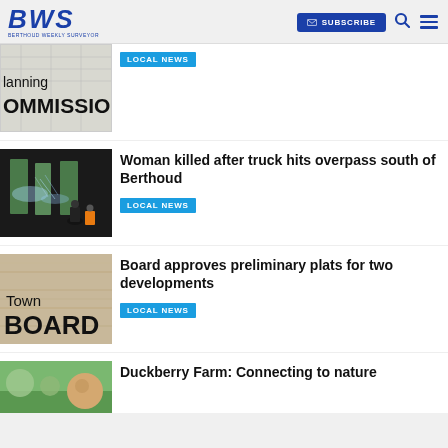BWS — Berthoud Weekly Surveyor — SUBSCRIBE
[Figure (photo): Planning Commission thumbnail image — partial view showing 'lanning' and 'OMMISSION' text]
LOCAL NEWS
[Figure (photo): Night scene of truck accident at overpass, workers with emergency lighting]
Woman killed after truck hits overpass south of Berthoud
LOCAL NEWS
[Figure (photo): Town Board graphic with wood background]
Board approves preliminary plats for two developments
LOCAL NEWS
[Figure (photo): Duckberry Farm partial thumbnail]
Duckberry Farm: Connecting to nature